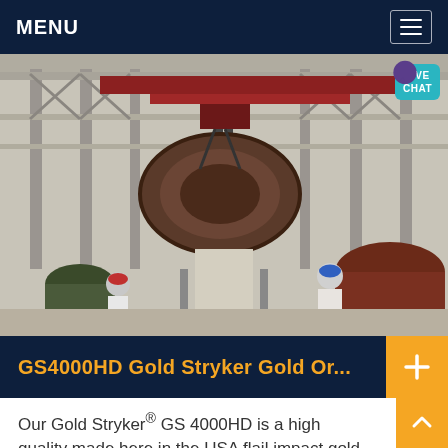MENU
[Figure (photo): Industrial factory interior with a large crane lifting a massive round metal component. Two workers in hard hats (red and blue) visible in foreground. Large cylindrical metal drums on the right.]
GS4000HD Gold Stryker Gold Or...
Our Gold Stryker® GS 4000HD is a high quality made here in the USA flail impact gold mill a can process and crush up to 23 tons of rock